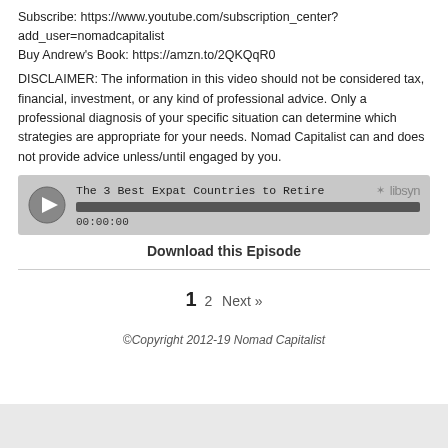Subscribe: https://www.youtube.com/subscription_center?add_user=nomadcapitalist
Buy Andrew's Book: https://amzn.to/2QKQqR0
DISCLAIMER: The information in this video should not be considered tax, financial, investment, or any kind of professional advice. Only a professional diagnosis of your specific situation can determine which strategies are appropriate for your needs. Nomad Capitalist can and does not provide advice unless/until engaged by you.
[Figure (screenshot): Audio player widget showing 'The 3 Best Expat Countries to Retire' with a play button, progress bar, timestamp 00:00:00, and libsyn logo]
Download this Episode
1  2  Next »
©Copyright 2012-19 Nomad Capitalist